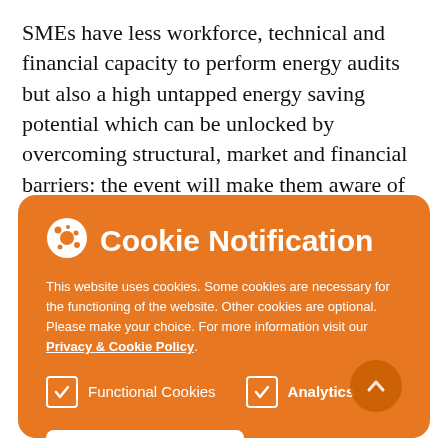SMEs have less workforce, technical and financial capacity to perform energy audits but also a high untapped energy saving potential which can be unlocked by overcoming structural, market and financial barriers: the event will make them aware of the multiple benefits that can derive from improving their energy efficiency. The event will also share best practices from national schemes, EU projects and other initiatives with national authorities.
[Figure (screenshot): Cookie notification overlay panel with orange background. Contains a cookie icon, title 'Cookie Notification', body text about website cookies, checkboxes for Functional Cookies and Analytics, a 'THAT'S OKAY!' button, and a scroll-up arrow button.]